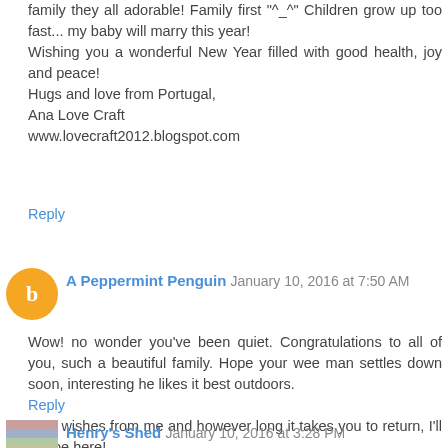family they all adorable! Family first "^_^" Children grow up too fast... my baby will marry this year!
Wishing you a wonderful New Year filled with good health, joy and peace!
Hugs and love from Portugal,
Ana Love Craft
www.lovecraft2012.blogspot.com
Reply
A Peppermint Penguin  January 10, 2016 at 7:50 AM
Wow! no wonder you've been quiet. Congratulations to all of you, such a beautiful family. Hope your wee man settles down soon, interesting he likes it best outdoors.

Best wishes from me and however long it takes you to return, I'll still be here!
Reply
Henry's Shed  January 10, 2016 at 3:28 PM